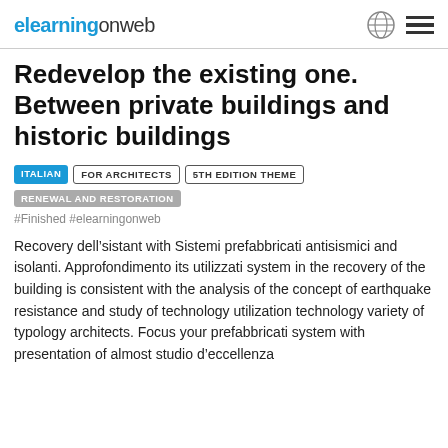elearningonweb
Redevelop the existing one. Between private buildings and historic buildings
ITALIAN
FOR ARCHITECTS
5TH EDITION THEME
RENEWAL AND RESTORATION
#Finished #elearningonweb
Recovery dell’sistant with Sistemi prefabbricati antisismici and isolanti. Approfondimento its utilizzati system in the recovery of the building is consistent with the analysis of the concept of earthquake resistance and study of technology utilization technology variety of typology architects. Focus your prefabbricati system with presentation of almost studio d’eccellenza